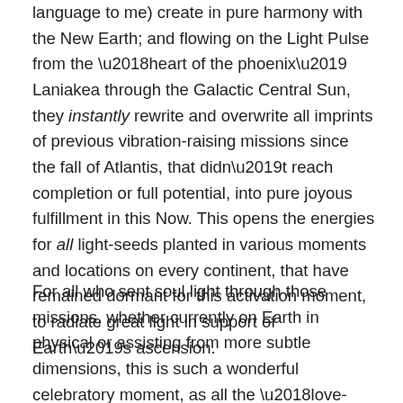language to me) create in pure harmony with the New Earth; and flowing on the Light Pulse from the ‘heart of the phoenix’ Laniakea through the Galactic Central Sun, they instantly rewrite and overwrite all imprints of previous vibration-raising missions since the fall of Atlantis, that didn’t reach completion or full potential, into pure joyous fulfillment in this Now. This opens the energies for all light-seeds planted in various moments and locations on every continent, that have remained dormant for this activation moment, to radiate great light in support of Earth’s ascension.
For all who sent soul light through those missions, whether currently on Earth in physical or assisting from more subtle dimensions, this is such a wonderful celebratory moment, as all the ‘love-lines’ converge now much more powerfully toward the vibrational tipping point Star Family refer to as